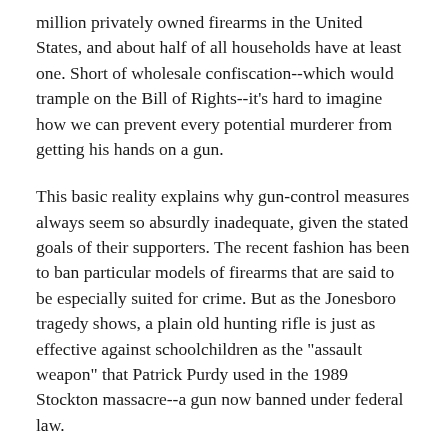million privately owned firearms in the United States, and about half of all households have at least one. Short of wholesale confiscation--which would trample on the Bill of Rights--it's hard to imagine how we can prevent every potential murderer from getting his hands on a gun.
This basic reality explains why gun-control measures always seem so absurdly inadequate, given the stated goals of their supporters. The recent fashion has been to ban particular models of firearms that are said to be especially suited for crime. But as the Jonesboro tragedy shows, a plain old hunting rifle is just as effective against schoolchildren as the "assault weapon" that Patrick Purdy used in the 1989 Stockton massacre--a gun now banned under federal law.